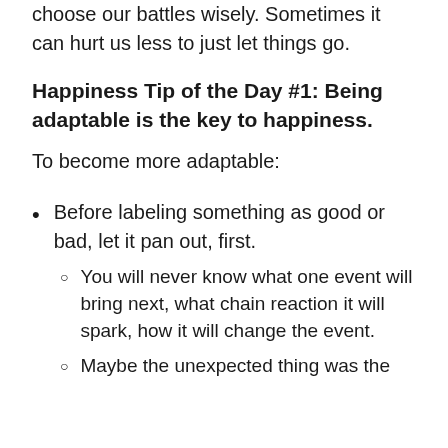when things don't go your way, we have to choose our battles wisely. Sometimes it can hurt us less to just let things go.
Happiness Tip of the Day #1: Being adaptable is the key to happiness.
To become more adaptable:
Before labeling something as good or bad, let it pan out, first.
You will never know what one event will bring next, what chain reaction it will spark, how it will change the event.
Maybe the unexpected thing was the